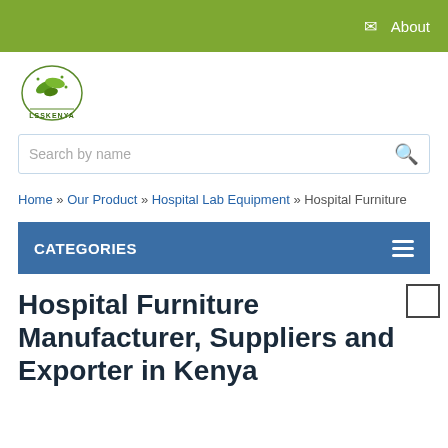About
[Figure (logo): LSSKENYA company logo — circular logo with green leaves and text LSSKENYA]
Search by name
Home » Our Product » Hospital Lab Equipment » Hospital Furniture
CATEGORIES
Hospital Furniture Manufacturer, Suppliers and Exporter in Kenya